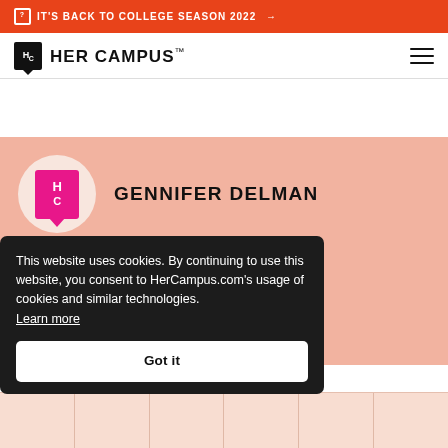IT'S BACK TO COLLEGE SEASON 2022 →
[Figure (logo): Her Campus logo with HC emblem and wordmark]
GENNIFER DELMAN
pecialist for Her Campus l sponsored content across and newsletters. As one of y wrote about career, college during her time at Hofstra
This website uses cookies. By continuing to use this website, you consent to HerCampus.com's usage of cookies and similar technologies. Learn more Got it